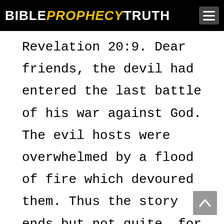BIBLE PROPHECY TRUTH
Revelation 20:9. Dear friends, the devil had entered the last battle of his war against God. The evil hosts were overwhelmed by a flood of fire which devoured them. Thus the story ends but not quite, for the fire which devours the wicked also purges and purifies the earth. The very curse of sin will be burned out, leaving an